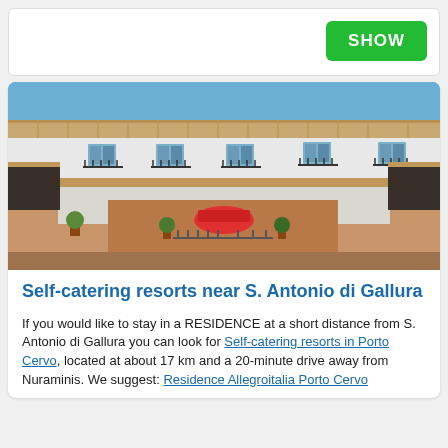[Figure (other): Green SHOW button on white bar at top of page]
[Figure (photo): Aerial/angled view of a white Mediterranean-style resort building with terracotta tile roofs, balconies with black railings, and an open courtyard with terracotta paving, potted plants, and a red car/umbrella in the center. Blue sky above.]
Self-catering resorts near S. Antonio di Gallura
If you would like to stay in a RESIDENCE at a short distance from S. Antonio di Gallura you can look for Self-catering resorts in Porto Cervo, located at about 17 km and a 20-minute drive away from Nuraminis. We suggest: Residence Allegroitalia Porto Cervo